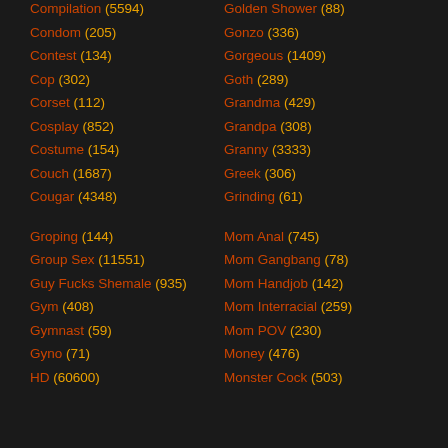Compilation (5594)
Golden Shower (88)
Condom (205)
Gonzo (336)
Contest (134)
Gorgeous (1409)
Cop (302)
Goth (289)
Corset (112)
Grandma (429)
Cosplay (852)
Grandpa (308)
Costume (154)
Granny (3333)
Couch (1687)
Greek (306)
Cougar (4348)
Grinding (61)
Groping (144)
Mom Anal (745)
Group Sex (11551)
Mom Gangbang (78)
Guy Fucks Shemale (935)
Mom Handjob (142)
Gym (408)
Mom Interracial (259)
Gymnast (59)
Mom POV (230)
Gyno (71)
Money (476)
HD (60600)
Monster Cock (503)